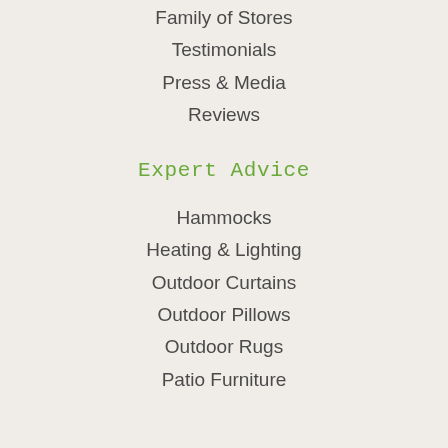Family of Stores
Testimonials
Press & Media
Reviews
Expert Advice
Hammocks
Heating & Lighting
Outdoor Curtains
Outdoor Pillows
Outdoor Rugs
Patio Furniture